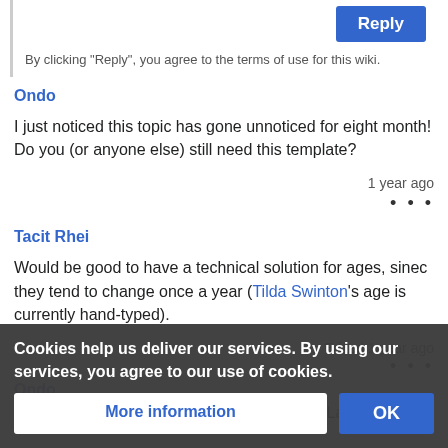By clicking "Reply", you agree to the terms of use for this wiki.
Reply
Ondo
I just noticed this topic has gone unnoticed for eight month! Do you (or anyone else) still need this template?
1 year ago
Tacit Rhei
Would be good to have a technical solution for ages, sinec they tend to change once a year (Tilda Swinton's age is currently hand-typed).
Edited 1 year ago
Ondo
I've imported {{ ... birth date}}. Later
Cookies help us deliver our services. By using our services, you agree to our use of cookies.
More information
OK